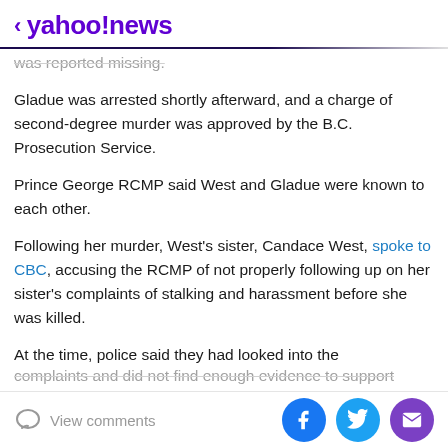< yahoo!news
was reported missing.
Gladue was arrested shortly afterward, and a charge of second-degree murder was approved by the B.C. Prosecution Service.
Prince George RCMP said West and Gladue were known to each other.
Following her murder, West's sister, Candace West, spoke to CBC, accusing the RCMP of not properly following up on her sister's complaints of stalking and harassment before she was killed.
At the time, police said they had looked into the complaints and did not find enough evidence to support
View comments